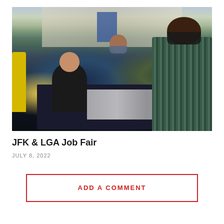[Figure (photo): Job fair scene showing people sitting at tables with materials, including a woman in a black jacket smiling, people wearing masks, a person in a plaid shirt, and a woman in a yellow dress on the left. Booths and banners visible in the background.]
JFK & LGA Job Fair
JULY 8, 2022
ADD A COMMENT